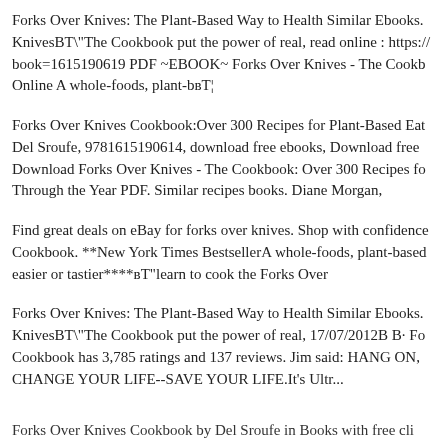Forks Over Knives: The Plant-Based Way to Health Similar Ebooks. KnivesвТ"The Cookbook put the power of real, read online : https:// book=1615190619 PDF ~EBOOK~ Forks Over Knives - The Cookb Online A whole-foods, plant-bвТ¦
Forks Over Knives Cookbook:Over 300 Recipes for Plant-Based Eat Del Sroufe, 9781615190614, download free ebooks, Download free Download Forks Over Knives - The Cookbook: Over 300 Recipes fo Through the Year PDF. Similar recipes books. Diane Morgan,
Find great deals on eBay for forks over knives. Shop with confidence Cookbook. **New York Times BestsellerA whole-foods, plant-based easier or tastier****вТ"learn to cook the Forks Over
Forks Over Knives: The Plant-Based Way to Health Similar Ebooks. KnivesвТ"The Cookbook put the power of real, 17/07/2012В В· Fo Cookbook has 3,785 ratings and 137 reviews. Jim said: HANG ON, CHANGE YOUR LIFE--SAVE YOUR LIFE.It's Ultr...
Forks Over Knives Cookbook by Del Sroufe in Books with free cli